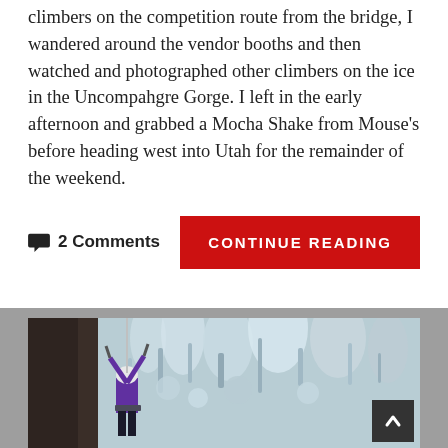climbers on the competition route from the bridge, I wandered around the vendor booths and then watched and photographed other climbers on the ice in the Uncompahgre Gorge. I left in the early afternoon and grabbed a Mocha Shake from Mouse's before heading west into Utah for the remainder of the weekend.
2 Comments
CONTINUE READING
[Figure (photo): An ice climber in a purple jacket and white helmet scaling a frozen ice wall in a gorge, with ice axes in hand. The frozen waterfall/ice formation is white and textured, with rock visible on the left.]